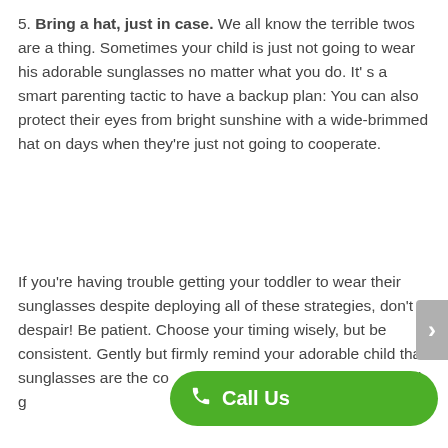5. Bring a hat, just in case. We all know the terrible twos are a thing. Sometimes your child is just not going to wear his adorable sunglasses no matter what you do. It' s a smart parenting tactic to have a backup plan: You can also protect their eyes from bright sunshine with a wide-brimmed hat on days when they're just not going to cooperate.
If you're having trouble getting your toddler to wear their sunglasses despite deploying all of these strategies, don't despair! Be patient. Choose your timing wisely, but be consistent. Gently but firmly remind your adorable child that sunglasses are the co are both good-looking and g